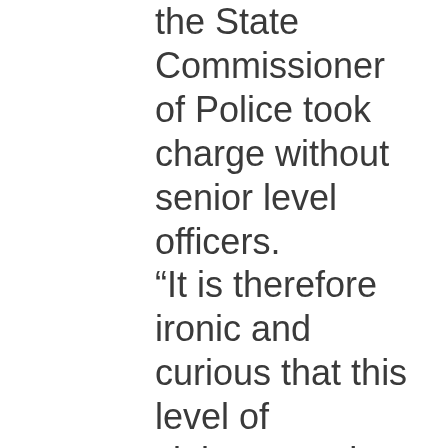the State Commissioner of Police took charge without senior level officers. “It is therefore ironic and curious that this level of violence and political thuggery would occur with this quantum of senior Police Officers deployed. Situation Room has always advocated against redeployment of